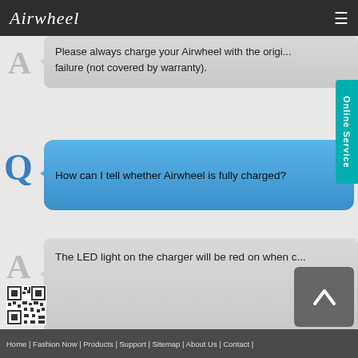Airwheel
Please always charge your Airwheel with the original charger, otherwise it may cause battery failure (not covered by warranty).
Online Service
How can I tell whether Airwheel is fully charged?
The LED light on the charger will be red on when c...
Home | Fashion Now | Products | Support | Sitemap | About Us | Contact |